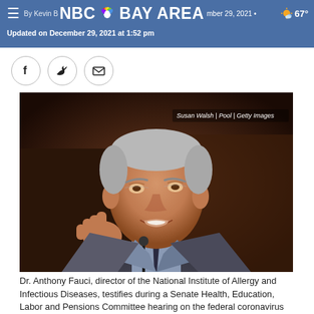NBC BAY AREA — By Kevin B... • December 29, 2021 • Updated on December 29, 2021 at 1:52 pm • 67°
[Figure (photo): Dr. Anthony Fauci speaking at a Senate hearing, gesturing with his right hand. Dark background. Photo credit: Susan Walsh | Pool | Getty Images]
Dr. Anthony Fauci, director of the National Institute of Allergy and Infectious Diseases, testifies during a Senate Health, Education, Labor and Pensions Committee hearing on the federal coronavirus response on Capitol Hill on March 18, 2021 in